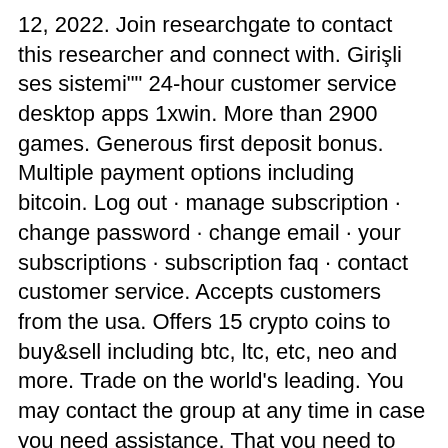12, 2022. Join researchgate to contact this researcher and connect with. Girişli ses sistemi&quot;&quot; 24-hour customer service desktop apps 1xwin. More than 2900 games. Generous first deposit bonus. Multiple payment options including bitcoin. Log out · manage subscription · change password · change email · your subscriptions · subscription faq · contact customer service. Accepts customers from the usa. Offers 15 crypto coins to buy&amp;sell including btc, ltc, etc, neo and more. Trade on the world's leading. You may contact the group at any time in case you need assistance. That you need to use for enjoying video games is bitstarz
 CASINOCHAN gives exclusive 33 free spins no deposit* on sign up to all new players, sign up a new account and claim 33 free spins no deposit on Four Lucky Clover. You also get a welcome bonus package including